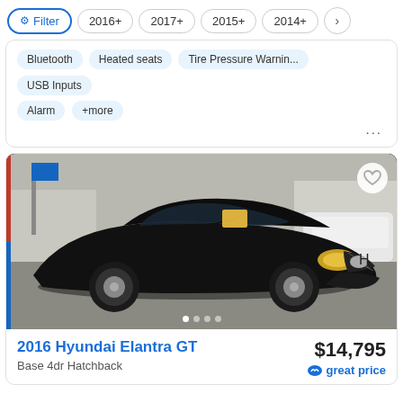Filter | 2016+ | 2017+ | 2015+ | 2014+ | >
Bluetooth
Heated seats
Tire Pressure Warnin...
USB Inputs
Alarm
+more
[Figure (photo): Black 2016 Hyundai Elantra GT parked at a car dealership lot, front three-quarter view, with other white vehicles visible in background]
2016 Hyundai Elantra GT
Base 4dr Hatchback
$14,795
great price